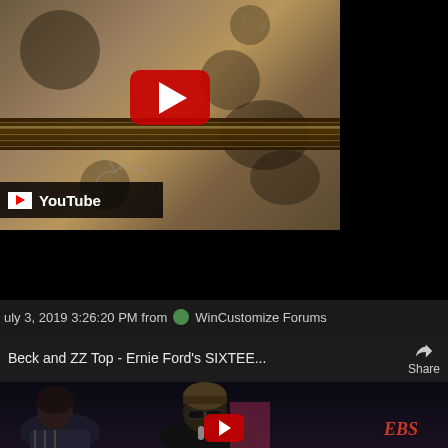[Figure (screenshot): YouTube video thumbnail showing a guitar neck overlaid on a textured brown wall background, with a red YouTube play button in the center and a YouTube logo bar in the bottom-left corner.]
July 3, 2019 3:26:20 PM from  WinCustomize Forums
[Figure (screenshot): Embedded YouTube video player showing two musicians performing. Title reads: Beck and ZZ Top - Ernie Ford's SIXTEE... A Share button appears in the top right and the EBS logo is visible in the bottom right. A YouTube play button appears at the bottom.]